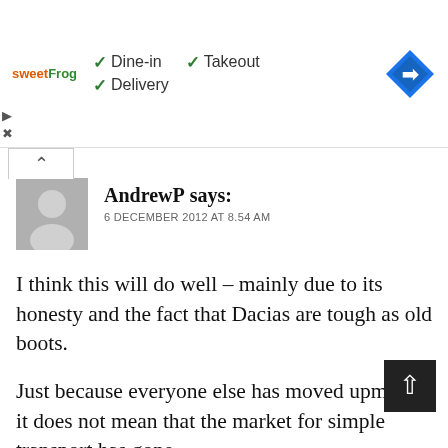[Figure (screenshot): Advertisement banner for sweetFrog showing dine-in, takeout, and delivery options with checkmarks, and a blue diamond navigation icon on the right.]
AndrewP says:
6 DECEMBER 2012 AT 8.54 AM
I think this will do well – mainly due to its honesty and the fact that Dacias are tough as old boots.
Just because everyone else has moved upmarket it does not mean that the market for simple transport has gone.
Would I buy one – no – because its just not